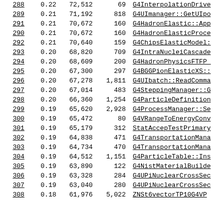| Rank | Pct | Calls | Lines | Function |
| --- | --- | --- | --- | --- |
| 288 | 0.22 | 72,512 | 69 | G4InterpolationDrive... |
| 289 | 0.21 | 71,192 | 818 | G4UImanager::GetUIpo... |
| 291 | 0.21 | 70,672 | 160 | G4HadronElastic::App... |
| 290 | 0.21 | 70,672 | 160 | G4HadronElasticProce... |
| 292 | 0.21 | 70,640 | 159 | G4ChipsElasticModel:... |
| 293 | 0.20 | 68,820 | 709 | G4IntraNucleiCascade... |
| 294 | 0.20 | 68,609 | 200 | G4HadronPhysicsFTFP_... |
| 295 | 0.20 | 67,300 | 297 | G4BGGPionElasticXS::... |
| 296 | 0.20 | 67,278 | 1,811 | G4UIbatch::ReadComma... |
| 297 | 0.20 | 67,014 | 483 | G4SteppingManager::G... |
| 298 | 0.20 | 66,360 | 1,254 | G4ParticleDefinition... |
| 299 | 0.19 | 65,620 | 2,928 | G4ProcessManager::Se... |
| 300 | 0.19 | 65,472 | 80 | G4VRangeToEnergyConv... |
| 301 | 0.19 | 65,179 | 312 | StatAccepTestPrimary... |
| 302 | 0.19 | 64,838 | 471 | G4TransportationMana... |
| 303 | 0.19 | 64,734 | 470 | G4TransportationMana... |
| 304 | 0.19 | 64,512 | 1,151 | G4ParticleTable::Ins... |
| 305 | 0.19 | 63,890 | 122 | G4NistMaterialBuilde... |
| 306 | 0.19 | 63,328 | 284 | G4UPiNuclearCrossSec... |
| 307 | 0.19 | 63,040 | 280 | G4UPiNuclearCrossSec... |
| 308 | 0.18 | 61,976 | 5,022 | ZNSt6vectorTP10G4VP... |